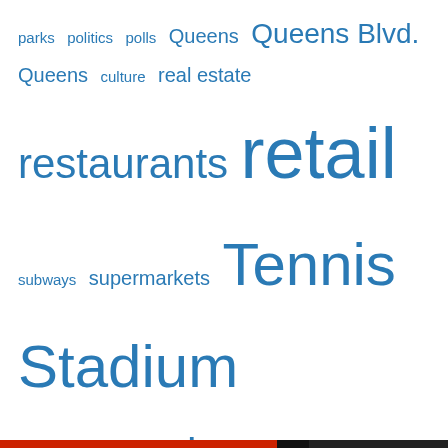parks  politics  polls  Queens  Queens Blvd.  Queens culture  real estate  restaurants  retail  subways  supermarkets  Tennis Stadium  tornado  weather
Categories
supermarkets  (17)
Privacy & Cookies: This site uses cookies. By continuing to use this website, you agree to their use.
To find out more, including how to control cookies, see here: Cookie Policy